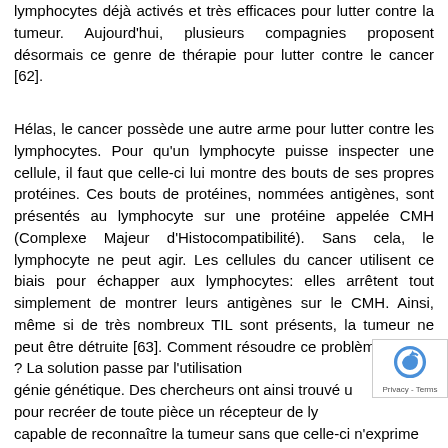lymphocytes déjà activés et très efficaces pour lutter contre la tumeur. Aujourd'hui, plusieurs compagnies proposent désormais ce genre de thérapie pour lutter contre le cancer [62].
Hélas, le cancer possède une autre arme pour lutter contre les lymphocytes. Pour qu'un lymphocyte puisse inspecter une cellule, il faut que celle-ci lui montre des bouts de ses propres protéines. Ces bouts de protéines, nommées antigènes, sont présentés au lymphocyte sur une protéine appelée CMH (Complexe Majeur d'Histocompatibilité). Sans cela, le lymphocyte ne peut agir. Les cellules du cancer utilisent ce biais pour échapper aux lymphocytes: elles arrêtent tout simplement de montrer leurs antigènes sur le CMH. Ainsi, même si de très nombreux TIL sont présents, la tumeur ne peut être détruite [63]. Comment résoudre ce problème majeur ? La solution passe par l'utilisa­tion du génie génétique. Des chercheurs ont ainsi trouvé un moyen pour recréer de toute pièce un récepteur de lymphocyte capable de reconnaître la tumeur sans que celle-ci n'exprime